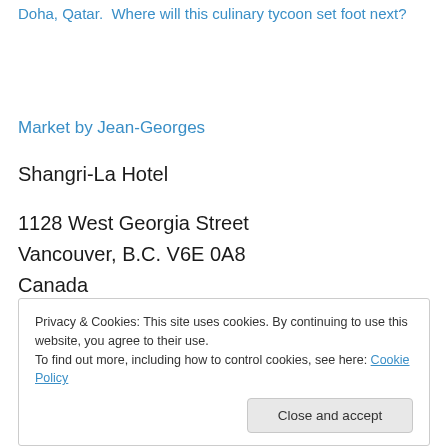Doha, Qatar.  Where will this culinary tycoon set foot next?
Market by Jean-Georges
Shangri-La Hotel
1128 West Georgia Street
Vancouver, B.C. V6E 0A8
Canada
Privacy & Cookies: This site uses cookies. By continuing to use this website, you agree to their use.
To find out more, including how to control cookies, see here: Cookie Policy
Close and accept